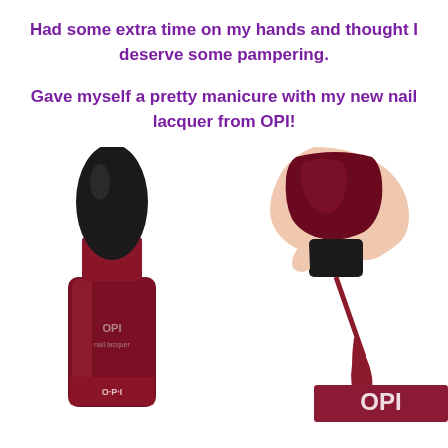Had some extra time on my hands and thought I deserve some pampering.
Gave myself a pretty manicure with my new nail lacquer from OPI!
[Figure (photo): Left: OPI nail lacquer bottle with black cap and dark burgundy/red polish body showing OPI label. Right: A hand holding a nail polish brush applicator with dark burgundy nail polish dripping, over OPI branded box.]